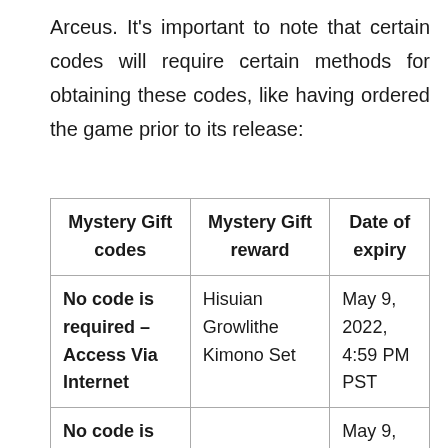Arceus. It's important to note that certain codes will require certain methods for obtaining these codes, like having ordered the game prior to its release:
| Mystery Gift codes | Mystery Gift reward | Date of expiry |
| --- | --- | --- |
| No code is required – Access Via Internet | Hisuian Growlithe Kimono Set | May 9, 2022, 4:59 PM PST |
| No code is… |  | May 9, |